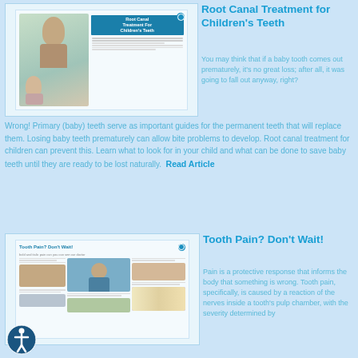[Figure (screenshot): Thumbnail screenshot of article 'Root Canal Treatment For Children's Teeth' showing a woman and child smiling]
Root Canal Treatment for Children's Teeth
You may think that if a baby tooth comes out prematurely, it's no great loss; after all, it was going to fall out anyway, right?
Wrong! Primary (baby) teeth serve as important guides for the permanent teeth that will replace them. Losing baby teeth prematurely can allow bite problems to develop. Root canal treatment for children can prevent this. Learn what to look for in your child and what can be done to save baby teeth until they are ready to be lost naturally.
Read Article
[Figure (screenshot): Thumbnail screenshot of article 'Tooth Pain? Don't Wait!' showing a person holding their jaw and dental images]
Tooth Pain? Don't Wait!
Pain is a protective response that informs the body that something is wrong. Tooth pain, specifically, is caused by a reaction of the nerves inside a tooth's pulp chamber, with the severity determined by
[Figure (illustration): Accessibility icon - circular white icon with human figure inside dark circle, bottom left corner]